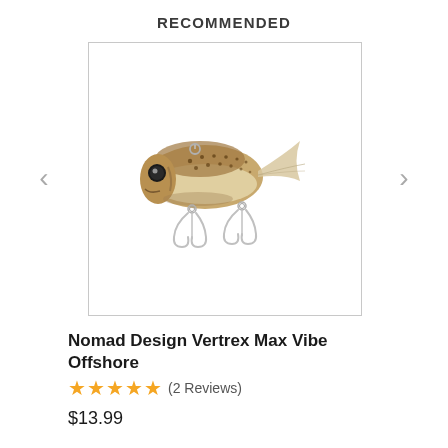RECOMMENDED
[Figure (photo): A fishing lure (Nomad Design Vertrex Max Vibe Offshore) with a fish-shaped body featuring brown and gold coloring with black spots, two treble hooks, and a small ring attachment point on top. White background inside a bordered rectangle.]
Nomad Design Vertrex Max Vibe Offshore
★★★★★ (2 Reviews)
$13.99